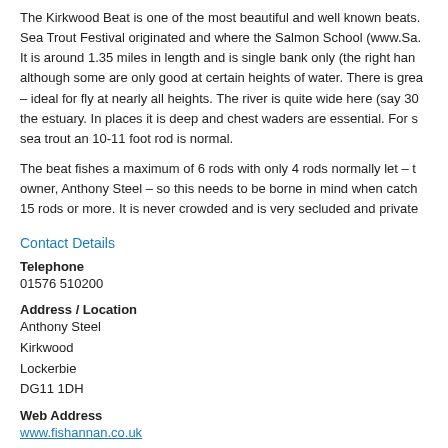The Kirkwood Beat is one of the most beautiful and well known beats. Sea Trout Festival originated and where the Salmon School (www.Sa. It is around 1.35 miles in length and is single bank only (the right hand although some are only good at certain heights of water. There is grea – ideal for fly at nearly all heights. The river is quite wide here (say 30 the estuary. In places it is deep and chest waders are essential. For s sea trout an 10-11 foot rod is normal.
The beat fishes a maximum of 6 rods with only 4 rods normally let – t owner, Anthony Steel – so this needs to be borne in mind when catch 15 rods or more. It is never crowded and is very secluded and private
Contact Details
Telephone
01576 510200
Address / Location
Anthony Steel
Kirkwood
Lockerbie
DG11 1DH
Web Address
www.fishannan.co.uk